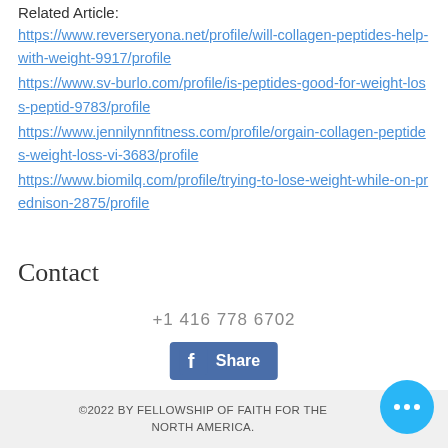Related Article:
https://www.reverseryona.net/profile/will-collagen-peptides-help-with-weight-9917/profile https://www.sv-burlo.com/profile/is-peptides-good-for-weight-loss-peptid-9783/profile https://www.jennilynnfitness.com/profile/orgain-collagen-peptides-weight-loss-vi-3683/profile https://www.biomilq.com/profile/trying-to-lose-weight-while-on-prednison-2875/profile
Contact
+1 416 778 6702
[Figure (other): Facebook Share button with blue background and 'f' logo]
©2022 BY FELLOWSHIP OF FAITH FOR THE NORTH AMERICA.